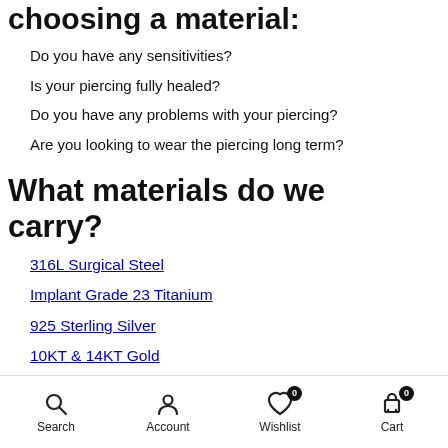choosing a material:
Do you have any sensitivities?
Is your piercing fully healed?
Do you have any problems with your piercing?
Are you looking to wear the piercing long term?
What materials do we carry?
316L Surgical Steel
Implant Grade 23 Titanium
925 Sterling Silver
10KT & 14KT Gold
Acrylic
316L Surgical Steel:
We carry a variety of materials, but our most common and
Search  Account  Wishlist 0  Cart 0